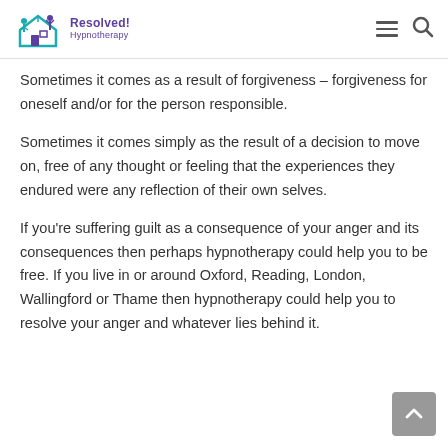Resolved! Hypnotherapy
Sometimes it comes as a result of forgiveness – forgiveness for oneself and/or for the person responsible.
Sometimes it comes simply as the result of a decision to move on, free of any thought or feeling that the experiences they endured were any reflection of their own selves.
If you're suffering guilt as a consequence of your anger and its consequences then perhaps hypnotherapy could help you to be free. If you live in or around Oxford, Reading, London, Wallingford or Thame then hypnotherapy could help you to resolve your anger and whatever lies behind it.